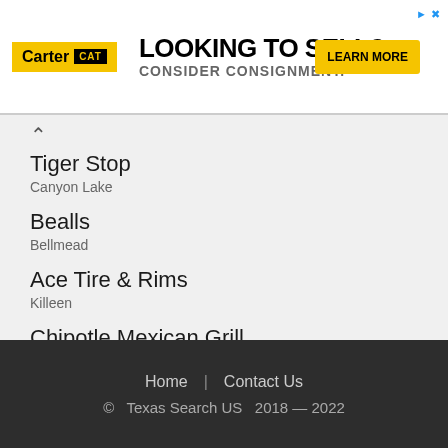[Figure (other): Carter CAT advertisement banner: LOOKING TO SELL? CONSIDER CONSIGNMENT. with Learn More button]
Tiger Stop
Canyon Lake
Bealls
Bellmead
Ace Tire & Rims
Killeen
Chipotle Mexican Grill
Hurst
Ramsey Residence
Wylie
Home | Contact Us
© Texas Search US 2018 — 2022